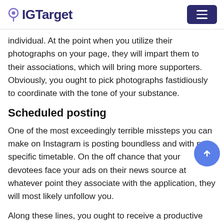IGTarget
individual. At the point when you utilize their photographs on your page, they will impart them to their associations, which will bring more supporters. Obviously, you ought to pick photographs fastidiously to coordinate with the tone of your substance.
Scheduled posting
One of the most exceedingly terrible missteps you can make on Instagram is posting boundless and with no specific timetable. On the off chance that your devotees face your ads on their news source at whatever point they associate with the application, they will most likely unfollow you.
Along these lines, you ought to receive a productive way to deal with balance your essence on their